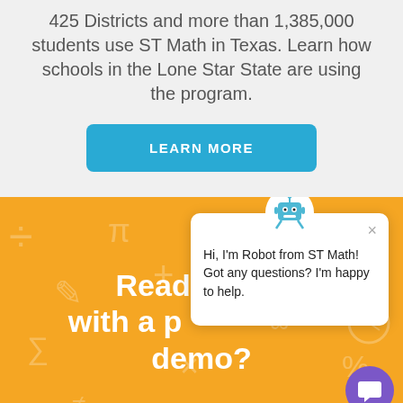425 Districts and more than 1,385,000 students use ST Math in Texas. Learn how schools in the Lone Star State are using the program.
LEARN MORE
Hi, I'm Robot from ST Math! Got any questions? I'm happy to help.
Ready to ex… with a p… demo?
Facebook | Twitter | LinkedIn | Email | (chat button)